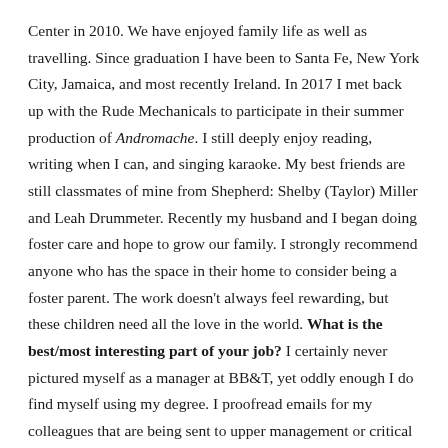Center in 2010. We have enjoyed family life as well as travelling. Since graduation I have been to Santa Fe, New York City, Jamaica, and most recently Ireland. In 2017 I met back up with the Rude Mechanicals to participate in their summer production of Andromache. I still deeply enjoy reading, writing when I can, and singing karaoke. My best friends are still classmates of mine from Shepherd: Shelby (Taylor) Miller and Leah Drummeter. Recently my husband and I began doing foster care and hope to grow our family. I strongly recommend anyone who has the space in their home to consider being a foster parent. The work doesn't always feel rewarding, but these children need all the love in the world. What is the best/most interesting part of your job? I certainly never pictured myself as a manager at BB&T, yet oddly enough I do find myself using my degree. I proofread emails for my colleagues that are being sent to upper management or critical clients; I assist our Hispanic community by utilizing my Spanish minor, and overall I find myself using communication and